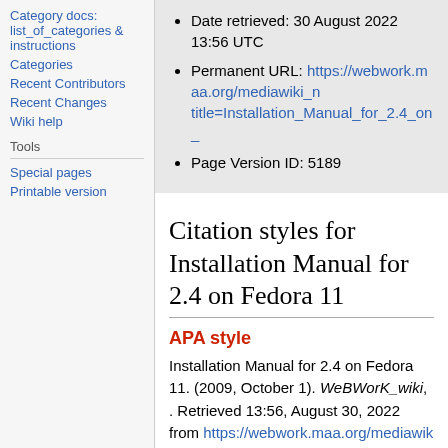Category docs: list_of_categories & instructions
Categories
Recent Contributors
Recent Changes
Wiki help
Tools
Special pages
Printable version
Date retrieved: 30 August 2022 13:56 UTC
Permanent URL: https://webwork.maa.org/mediawiki_new/index.php?title=Installation_Manual_for_2.4_on_
Page Version ID: 5189
Citation styles for Installation Manual for 2.4 on Fedora 11
APA style
Installation Manual for 2.4 on Fedora 11. (2009, October 1). WeBWorK_wiki, . Retrieved 13:56, August 30, 2022 from https://webwork.maa.org/mediawiki_new/i